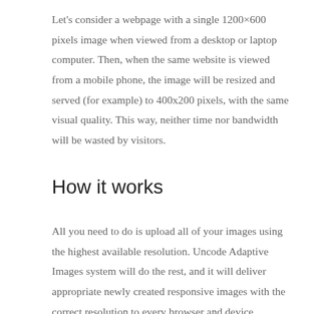Let's consider a webpage with a single 1200×600 pixels image when viewed from a desktop or laptop computer. Then, when the same website is viewed from a mobile phone, the image will be resized and served (for example) to 400x200 pixels, with the same visual quality. This way, neither time nor bandwidth will be wasted by visitors.
How it works
All you need to do is upload all of your images using the highest available resolution. Uncode Adaptive Images system will do the rest, and it will deliver appropriate newly created responsive images with the correct resolution to every browser and device.